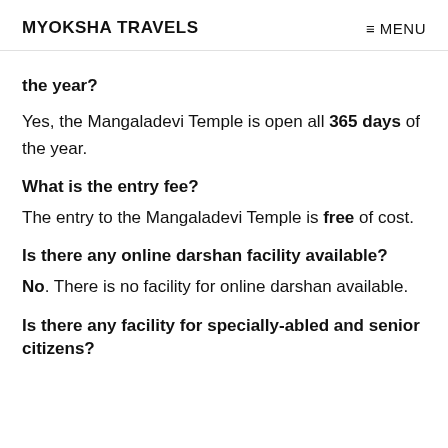MYOKSHA TRAVELS   ≡ MENU
the year?
Yes, the Mangaladevi Temple is open all 365 days of the year.
What is the entry fee?
The entry to the Mangaladevi Temple is free of cost.
Is there any online darshan facility available?
No. There is no facility for online darshan available.
Is there any facility for specially-abled and senior citizens?